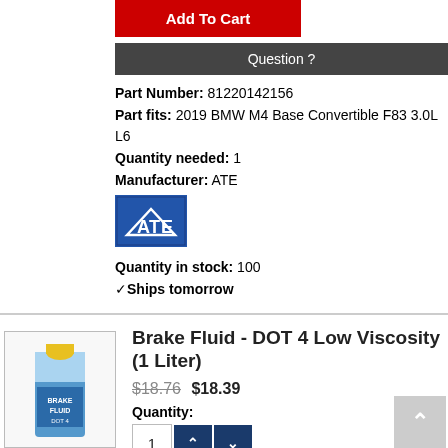Add To Cart
Question ?
Part Number: 81220142156
Part fits: 2019 BMW M4 Base Convertible F83 3.0L L6
Quantity needed: 1
Manufacturer: ATE
[Figure (logo): ATE manufacturer logo - blue background with white ATE text and mountain graphic]
Quantity in stock: 100
✓Ships tomorrow
Brake Fluid - DOT 4 Low Viscosity (1 Liter)
$18.76  $18.39
Quantity: 1
Add To Cart
Question ?
Part Number: 81220142156
Part fits: 2019 BMW M4 Base Convertible F83 3.0L